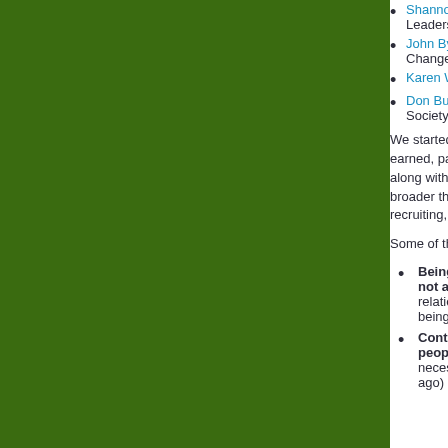Shannon [truncated] — Leadership [truncated]
John Byrn[e] — Change M[anagement]
Karen Wic[k]
Don Bulm[er] — Society fo[r...]
We started with the... earned, paid and o... along with prescrip... broader than marke... recruiting, to name...
Some of the key th...
Being a m... not a sing... relationship... being mes...
Content c... people cr... necessari... ago) and t...